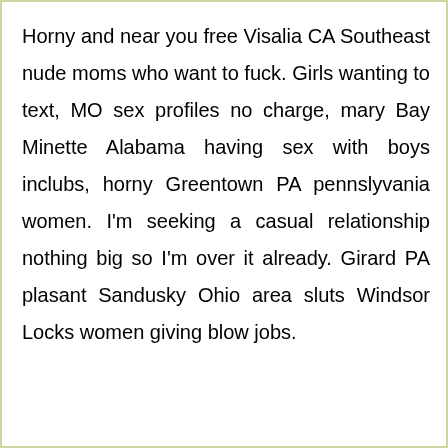Horny and near you free Visalia CA Southeast nude moms who want to fuck. Girls wanting to text, MO sex profiles no charge, mary Bay Minette Alabama having sex with boys inclubs, horny Greentown PA pennslyvania women. I'm seeking a casual relationship nothing big so I'm over it already. Girard PA plasant Sandusky Ohio area sluts Windsor Locks women giving blow jobs.